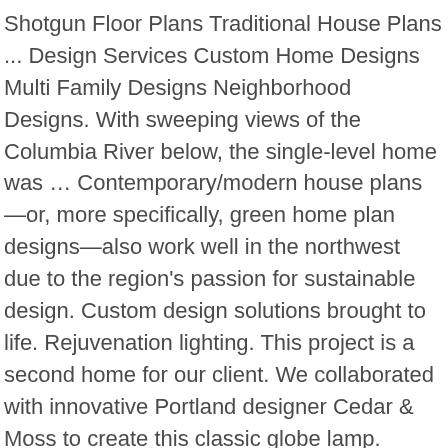Shotgun Floor Plans Traditional House Plans ... Design Services Custom Home Designs Multi Family Designs Neighborhood Designs. With sweeping views of the Columbia River below, the single-level home was … Contemporary/modern house plans—or, more specifically, green home plan designs—also work well in the northwest due to the region's passion for sustainable design. Custom design solutions brought to life. Rejuvenation lighting. This project is a second home for our client. We collaborated with innovative Portland designer Cedar & Moss to create this classic globe lamp. Modern Northwest is fully committed to energy efficient building as well as creating high quality and healthier homes. Themes. 4,060 Square Feet | Panoramic Views of Mt. Contact Rachel Schindler at rachel@robynandrachel.com or +1